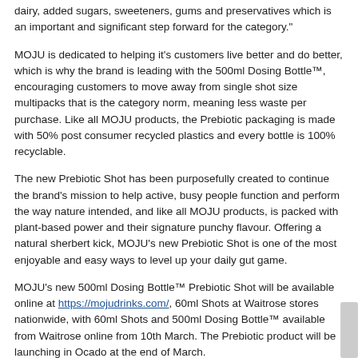dairy, added sugars, sweeteners, gums and preservatives which is an important and significant step forward for the category."
MOJU is dedicated to helping it's customers live better and do better, which is why the brand is leading with the 500ml Dosing Bottle™, encouraging customers to move away from single shot size multipacks that is the category norm, meaning less waste per purchase. Like all MOJU products, the Prebiotic packaging is made with 50% post consumer recycled plastics and every bottle is 100% recyclable.
The new Prebiotic Shot has been purposefully created to continue the brand's mission to help active, busy people function and perform the way nature intended, and like all MOJU products, is packed with plant-based power and their signature punchy flavour. Offering a natural sherbert kick, MOJU's new Prebiotic Shot is one of the most enjoyable and easy ways to level up your daily gut game.
MOJU's new 500ml Dosing Bottle™ Prebiotic Shot will be available online at https://mojudrinks.com/, 60ml Shots at Waitrose stores nationwide, with 60ml Shots and 500ml Dosing Bottle™ available from Waitrose online from 10th March. The Prebiotic product will be launching in Ocado at the end of March.
Related Posts:
1. MOJU to launch multi-pack juice shots in Sainsbury's